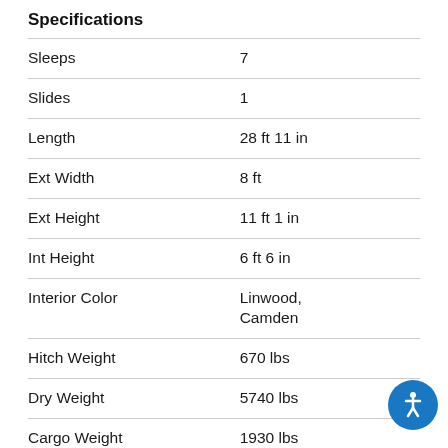Specifications
| Specification | Value |
| --- | --- |
| Sleeps | 7 |
| Slides | 1 |
| Length | 28 ft 11 in |
| Ext Width | 8 ft |
| Ext Height | 11 ft 1 in |
| Int Height | 6 ft 6 in |
| Interior Color | Linwood, Camden |
| Hitch Weight | 670 lbs |
| Dry Weight | 5740 lbs |
| Cargo Weight | 1930 lbs |
| Fresh Water Capacity | 54 gals |
| Grey Water Capacity | 60 gals |
| Black Water Capacity | 30 gals |